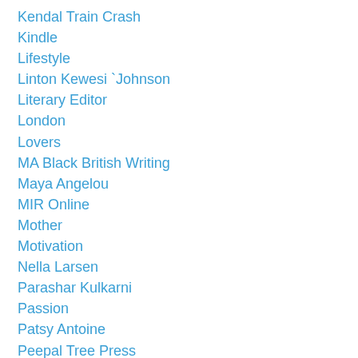Kendal Train Crash
Kindle
Lifestyle
Linton Kewesi `Johnson
Literary Editor
London
Lovers
MA Black British Writing
Maya Angelou
MIR Online
Mother
Motivation
Nella Larsen
Parashar Kulkarni
Passion
Patsy Antoine
Peepal Tree Press
Poet
Political
Politics
Postality